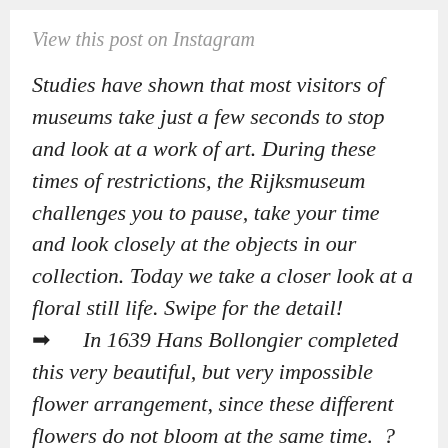View this post on Instagram
Studies have shown that most visitors of museums take just a few seconds to stop and look at a work of art. During these times of restrictions, the Rijksmuseum challenges you to pause, take your time and look closely at the objects in our collection. Today we take a closer look at a floral still life. Swipe for the detail! ➡ In 1639 Hans Bollongier completed this very beautiful, but very impossible flower arrangement, since these different flowers do not bloom at the same time. ? The exuberant bouquet completely distracts you from the fact that a little exhibitionist is demonstrating on the